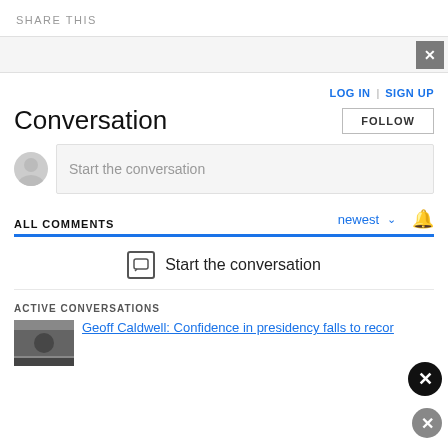SHARE THIS
LOG IN | SIGN UP
Conversation
FOLLOW
Start the conversation
ALL COMMENTS
newest
Start the conversation
ACTIVE CONVERSATIONS
Geoff Caldwell: Confidence in presidency falls to recor